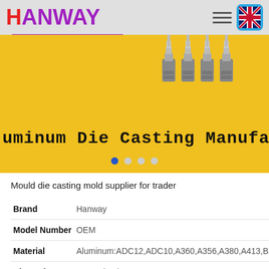[Figure (logo): Hanway logo with H in red and ANWAY in purple, purple underline beneath]
[Figure (screenshot): Website banner with yellow background showing aluminum die casting parts (metal buckles/connectors) and text 'uminum Die Casting Manufacturer' with navigation dots below]
Mould die casting mold supplier for trader
| Brand | Hanway |
| Model Number | OEM |
| Material | Aluminum:ADC12,ADC10,A360,A356,A380,A413,B3... |
| Dimensions | customized |
| Certification | ISO9001/ IATF16949 |
| MOQ | 500pcs |